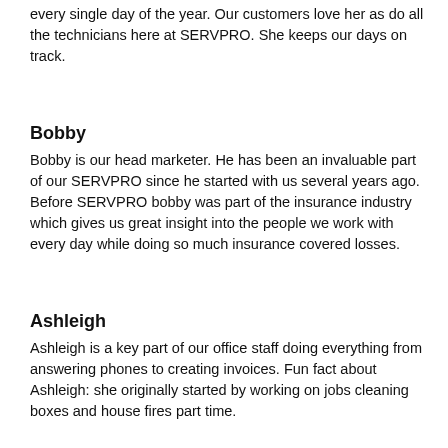every single day of the year. Our customers love her as do all the technicians here at SERVPRO. She keeps our days on track.
Bobby
Bobby is our head marketer. He has been an invaluable part of our SERVPRO since he started with us several years ago. Before SERVPRO bobby was part of the insurance industry which gives us great insight into the people we work with every day while doing so much insurance covered losses.
Ashleigh
Ashleigh is a key part of our office staff doing everything from answering phones to creating invoices. Fun fact about Ashleigh: she originally started by working on jobs cleaning boxes and house fires part time.